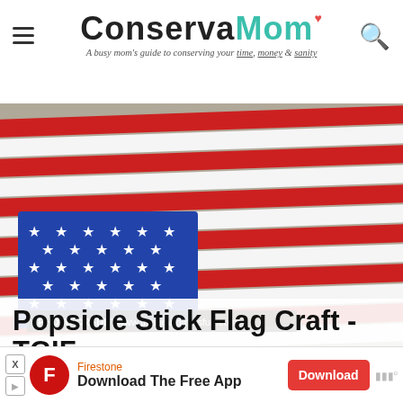ConservaMom — A busy mom's guide to conserving your time, money & sanity
[Figure (photo): Popsicle stick American flag craft with red, white, and blue painted sticks arranged as a US flag with white stars on blue section. Photo credit: www.thisgrandmaisfun.com]
Popsicle Stick Flag Craft - TGIF
[Figure (other): Firestone advertisement banner: Download The Free App with a red Download button and Mobi icons]